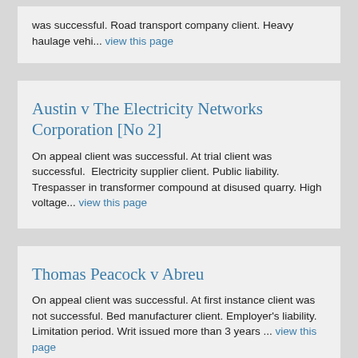was successful. Road transport company client. Heavy haulage vehi... view this page
Austin v The Electricity Networks Corporation [No 2]
On appeal client was successful. At trial client was successful.  Electricity supplier client. Public liability. Trespasser in transformer compound at disused quarry. High voltage... view this page
Thomas Peacock v Abreu
On appeal client was successful. At first instance client was not successful. Bed manufacturer client. Employer's liability. Limitation period. Writ issued more than 3 years ... view this page